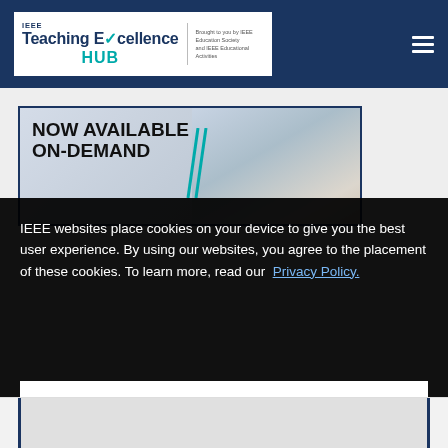IEEE Teaching Excellence HUB — Brought to you by IEEE Education Society and IEEE Educational Activities
[Figure (screenshot): Banner image showing 'NOW AVAILABLE ON-DEMAND' text with a photo of people on a video call in the background]
IEEE websites place cookies on your device to give you the best user experience. By using our websites, you agree to the placement of these cookies. To learn more, read our Privacy Policy.
Accept & Close